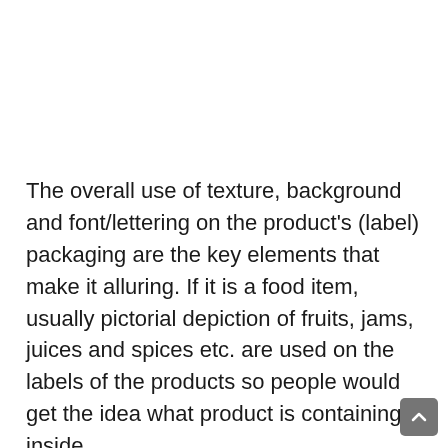The overall use of texture, background and font/lettering on the product's (label) packaging are the key elements that make it alluring. If it is a food item, usually pictorial depiction of fruits, jams, juices and spices etc. are used on the labels of the products so people would get the idea what product is containing inside.
In the same way lettering that is delicate looks unconventional. The graphic designers should bear in mind that they don't have to use vigorous and